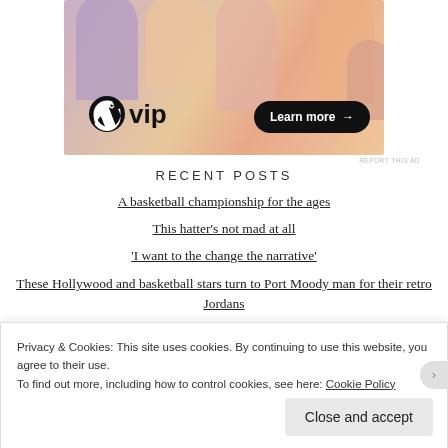[Figure (illustration): WordPress VIP advertisement banner with colorful arch shapes in purple, peach, and salmon tones. Shows WordPress 'W' logo with 'vip' text and a 'Learn more →' button.]
RECENT POSTS
A basketball championship for the ages
This hatter's not mad at all
'I want to the change the narrative'
These Hollywood and basketball stars turn to Port Moody man for their retro Jordans
Privacy & Cookies: This site uses cookies. By continuing to use this website, you agree to their use.
To find out more, including how to control cookies, see here: Cookie Policy